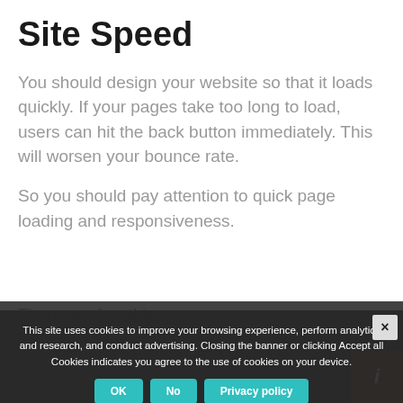Site Speed
You should design your website so that it loads quickly. If your pages take too long to load, users can hit the back button immediately. This will worsen your bounce rate.
So you should pay attention to quick page loading and responsiveness.
There are few things more... ages to load pages.
Be very careful with the use of
This site uses cookies to improve your browsing experience, perform analytics and research, and conduct advertising. Closing the banner or clicking Accept all Cookies indicates you agree to the use of cookies on your device.